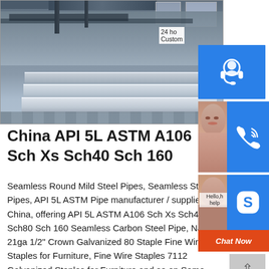[Figure (photo): Industrial steel plates stacked in a factory/warehouse, with overhead crane and metal beams visible in the background. Natural light from windows on the right side.]
[Figure (other): Sidebar UI widgets: 24-hour customer service icon (blue background with headset icon), phone/call icon (blue background with woman photo), Skype icon (blue background with 'S' logo and Chat Now orange button). Also a grey scroll-to-top arrow button at bottom right.]
China API 5L ASTM A106 Sch Xs Sch40 Sch 160
Seamless Round Mild Steel Pipes, Seamless Steel Pipes, API 5L ASTM Pipe manufacturer / supplier in China, offering API 5L ASTM A106 Sch Xs Sch40 Sch80 Sch 160 Seamless Carbon Steel Pipe, Nail 21ga 1/2" Crown Galvanized 80 Staple Fine Wire Staples for Furniture, Fine Wire Staples 7112 Galvanized Staples for Furniture and so on.Some results are removed in response to a notice of local law